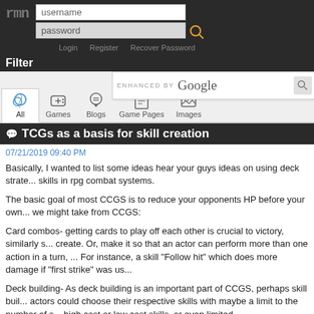rmn - username / password login form with Login, Register, Recover Password links
Filter
[Figure (screenshot): Google search bar with ENHANCED BY Google text and search icon, with navigation tabs: All, Games, Blogs, Game Pages, Images, Media, Reviews, Articles, Forum Topi...]
TCGs as a basis for skill creation
07/21/2019 09:40 PM
Basically, I wanted to list some ideas hear your guys ideas on using deck strate... skills in rpg combat systems.
The basic goal of most CCGS is to reduce your opponents HP before your own... we might take from CCGS:
Card combos- getting cards to play off each other is crucial to victory, similarly s... create. Or, make it so that an actor can perform more than one action in a turn, ... For instance, a skill "Follow hit" which does more damage if "first strike" was us...
Deck building- As deck building is an important part of CCGS, perhaps skill buil... actors could choose their respective skills with maybe a limit to the number of s... high cost or low cost skills, or even limited use skills (think limited copies of cards in a deck).
Summoning- a huge part of deck building games is summoning creatures- desi...